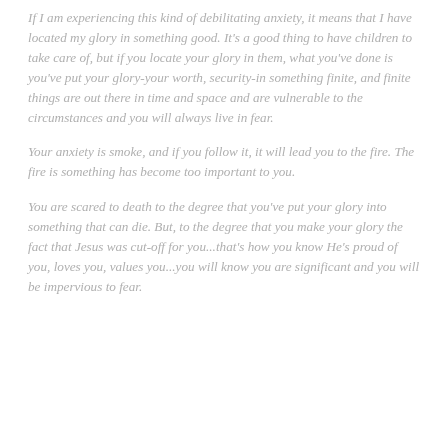If I am experiencing this kind of debilitating anxiety, it means that I have located my glory in something good. It's a good thing to have children to take care of, but if you locate your glory in them, what you've done is you've put your glory-your worth, security-in something finite, and finite things are out there in time and space and are vulnerable to the circumstances and you will always live in fear.
Your anxiety is smoke, and if you follow it, it will lead you to the fire. The fire is something has become too important to you.
You are scared to death to the degree that you've put your glory into something that can die. But, to the degree that you make your glory the fact that Jesus was cut-off for you...that's how you know He's proud of you, loves you, values you...you will know you are significant and you will be impervious to fear.